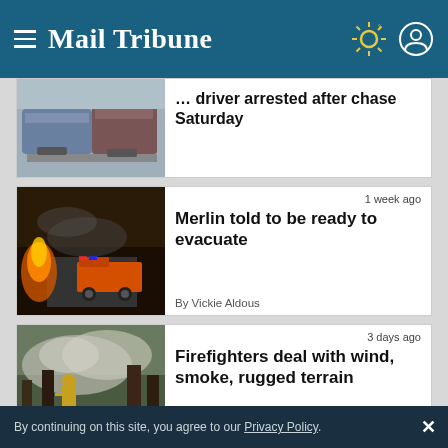Mail Tribune
[Figure (photo): Cars involved in a parking lot collision or chase incident]
… driver arrested after chase Saturday
[Figure (photo): Fire truck with flashing lights on a road at night with fire visible]
1 week ago
Merlin told to be ready to evacuate
By Vickie Aldous
[Figure (photo): Firefighter working in smoky conditions with rugged terrain]
3 days ago
Firefighters deal with wind, smoke, rugged terrain
By continuing on this site, you agree to our Privacy Policy.